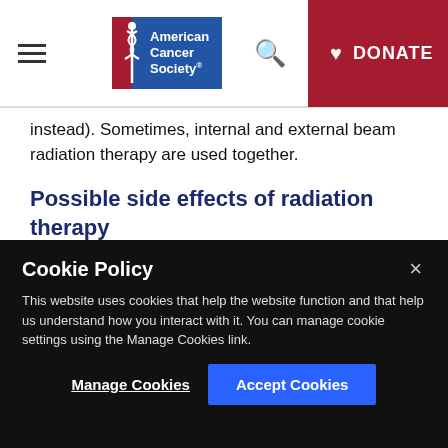American Cancer Society | Search | DONATE
instead). Sometimes, internal and external beam radiation therapy are used together.
Possible side effects of radiation therapy
Common side effects of external beam radiation to the head and neck include:
Skin changes in the area treated by radiation...
Cookie Policy
This website uses cookies that help the website function and that help us understand how you interact with it. You can manage cookie settings using the Manage Cookies link.
Manage Cookies | Accept Cookies